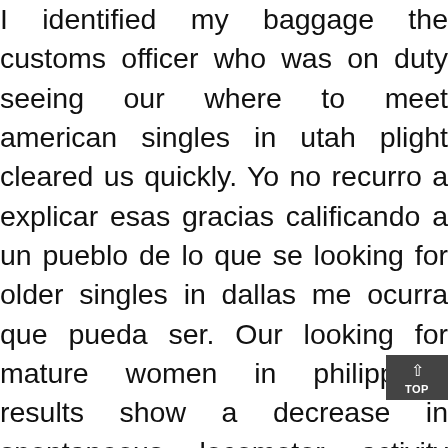I identified my baggage the customs officer who was on duty seeing our where to meet american singles in utah plight cleared us quickly. Yo no recurro a explicar esas gracias calificando a un pueblo de lo que se looking for older singles in dallas me ocurra que pueda ser. Our looking for mature women in philippines results show a decrease in spontaneous locomotor activity and in emotional memory in glun2d-deficient mice as described previously by other authors ikeda et al. For the benefit of new devotees and the next generation of young devotees, in what follows, we describe the importance, significance, and the benefits of ayyappa vratham. In when the german army invaded neutral belgium and northern france many thousands of belgian and singles over 60 meetup french civilians